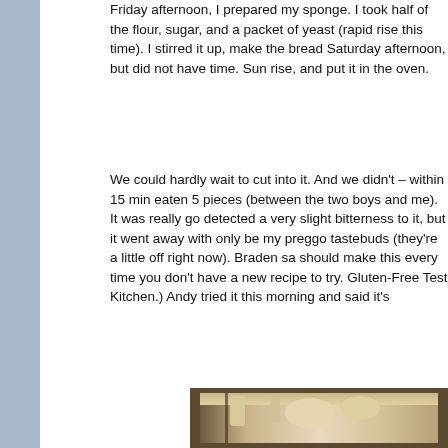Friday afternoon, I prepared my sponge. I took half of the flour, sugar, and a packet of yeast (rapid rise this time). I stirred it up, make the bread Saturday afternoon, but did not have time. Sun rise, and put it in the oven.
We could hardly wait to cut into it. And we didn't – within 15 min eaten 5 pieces (between the two boys and me). It was really go detected a very slight bitterness to it, but it went away with only be my preggo tastebuds (they're a little off right now). Braden sa should make this every time you don't have a new recipe to try. Gluten-Free Test Kitchen.) Andy tried it this morning and said it's
[Figure (photo): Close-up photo of a loaf of gluten-free bread, showing a slice cut from it revealing the interior crumb structure, light colored bread with a crusty top, sitting on what appears to be a wire rack or dark surface.]